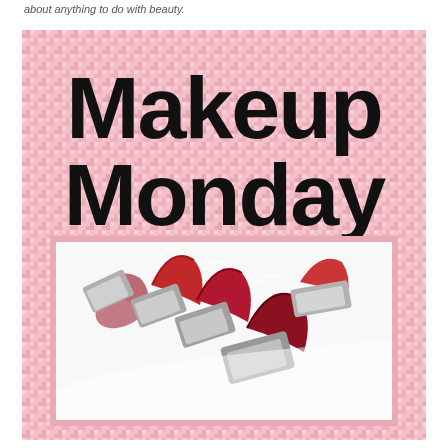about anything to do with beauty.
[Figure (illustration): Makeup Monday promotional graphic with pink gingham background, bold black text reading 'Makeup Monday', and a photo of several red and pink lipsticks arranged in a row with silver cases, framed with a pink border.]